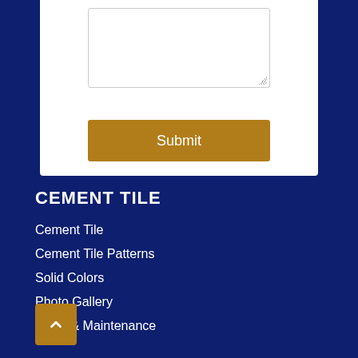[Figure (screenshot): A white form section at top showing a textarea input field with resize handle, and a dark golden 'Submit' button below it, on a dark navy blue background.]
CEMENT TILE
Cement Tile
Cement Tile Patterns
Solid Colors
Photo Gallery
FAQs & Maintenance